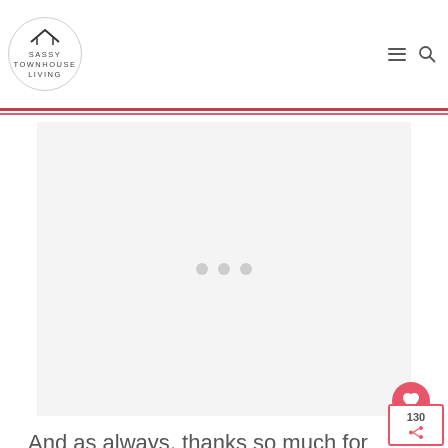SASSY TOWNHOUSE LIVING
[Figure (other): Advertisement placeholder box with three gray dots in the center]
And as always, thanks so much for visiting my site and if you like this post How To